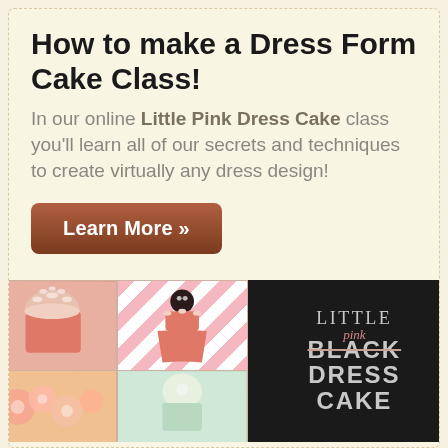How to make a Dress Form Cake Class!
In our online Little Pink Dress Cake class you'll learn all of our secrets and techniques to create virtually any dress design!
Learn More »
[Figure (photo): Collage of dress form cakes: a pink strapless cake with pearl necklace, a pink dress cake on chevron background, a floral cake, and a book cover reading 'Little pink BLACK DRESS CAKE' on black background]